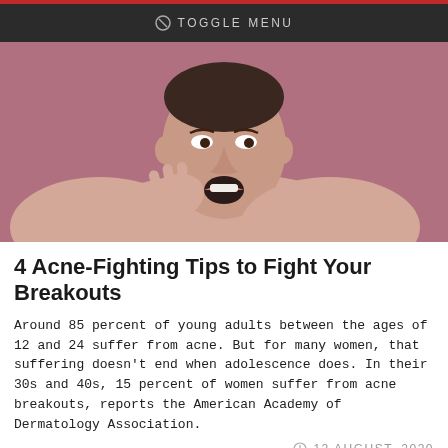TOGGLE MENU
[Figure (photo): Young woman touching her face with a surprised expression against a mauve/pink background, appearing to examine her skin.]
4 Acne-Fighting Tips to Fight Your Breakouts
Around 85 percent of young adults between the ages of 12 and 24 suffer from acne. But for many women, that suffering doesn't end when adolescence does. In their 30s and 40s, 15 percent of women suffer from acne breakouts, reports the American Academy of Dermatology Association.
12 AUGUST, 2020
[Figure (photo): Partial view of a person's head with dark hair against a tan/beige background, shown from the top.]